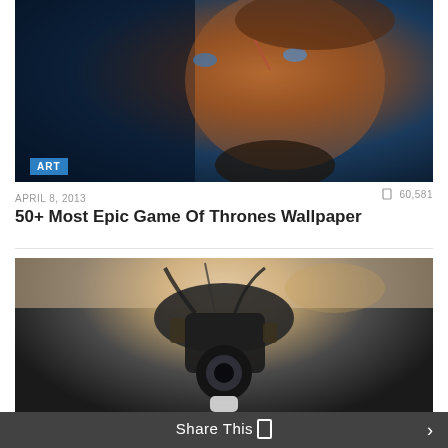[Figure (photo): Close-up dramatic portrait of a person (Tyrion Lannister character from Game of Thrones) with dark and teal lighting on left half, warm freckled face on right half, with an 'ART' badge overlay]
APRIL 8, 2013
60,581
50+ Most Epic Game Of Thrones Wallpaper
[Figure (photo): Close-up photo of a robotic/mechanical camera rig or equipment mounted from ceiling, with warm ambient room lighting in background]
Share This